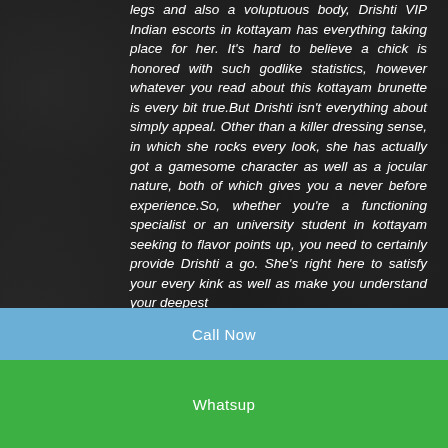legs and also a voluptuous body, Drishti VIP Indian escorts in kottayam has everything taking place for her. It's hard to believe a chick is honored with such godlike statistics, however whatever you read about this kottayam brunette is every bit true.But Drishti isn't everything about simply appeal. Other than a killer dressing sense, in which she rocks every look, she has actually got a gamesome character as well as a jocular nature, both of which gives you a never before experience.So, whether you're a functioning specialist or an university student in kottayam seeking to flavor points up, you need to certainly provide Drishti a go. She's right here to satisfy your every kink as well as make you understand your deepest
Call Now
Whatsup